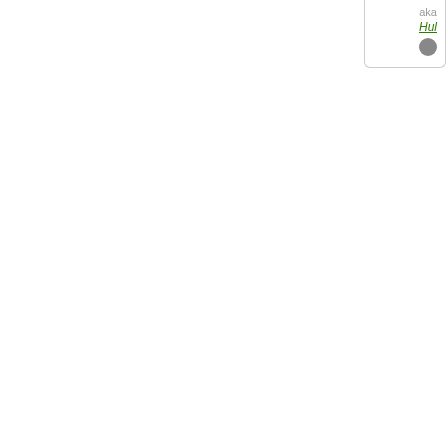aka Hul
[Figure (screenshot): Forum post card showing user Honeydewistania with flag avatar (yellow and blue Swedish-style flag with anime character), Senator rank, Posts: 3511, Founded: Jun 09, 2017, Compulsory Consumerist State. Post metadata shows quote button, by Honeydew, Wed Oct 28, 2020 5:34 pm.]
Honeydewistania
Senator
Posts: 3511
Founded: Jun 09, 2017
Compulsory Consumerist State
QUOTE
by Honeydew
» Wed Oct 28, 2020 5:34 pm